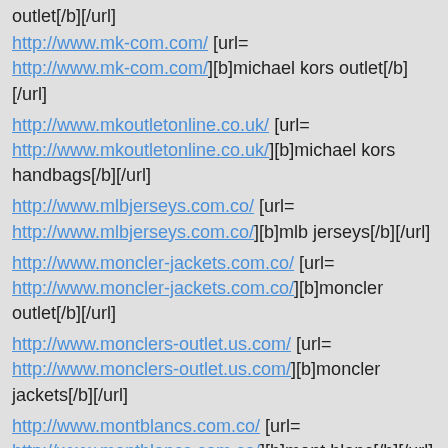outlet[/b][/url]
http://www.mk-com.com/ [url= http://www.mk-com.com/][b]michael kors outlet[/b][/url]
http://www.mkoutletonline.co.uk/ [url= http://www.mkoutletonline.co.uk/][b]michael kors handbags[/b][/url]
http://www.mlbjerseys.com.co/ [url= http://www.mlbjerseys.com.co/][b]mlb jerseys[/b][/url]
http://www.moncler-jackets.com.co/ [url= http://www.moncler-jackets.com.co/][b]moncler outlet[/b][/url]
http://www.monclers-outlet.us.com/ [url= http://www.monclers-outlet.us.com/][b]moncler jackets[/b][/url]
http://www.montblancs.com.co/ [url= http://www.montblancs.com.co/][b]mont blanc[/b][/url]
http://www.nba-jerseys.com.co/ [url=